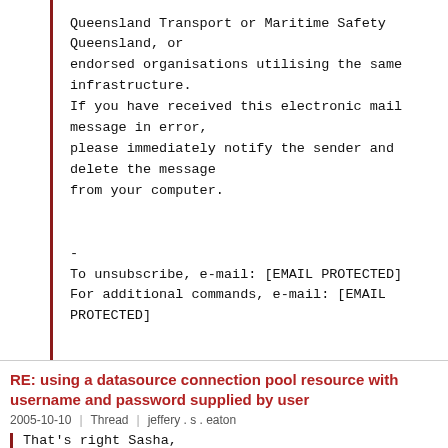Queensland Transport or Maritime Safety Queensland, or endorsed organisations utilising the same infrastructure.
If you have received this electronic mail message in error,
please immediately notify the sender and delete the message
from your computer.


-
To unsubscribe, e-mail: [EMAIL PROTECTED]
For additional commands, e-mail: [EMAIL PROTECTED]
RE: using a datasource connection pool resource with username and password supplied by user
2005-10-10 | Thread | jeffery . s . eaton
That's right Sasha,